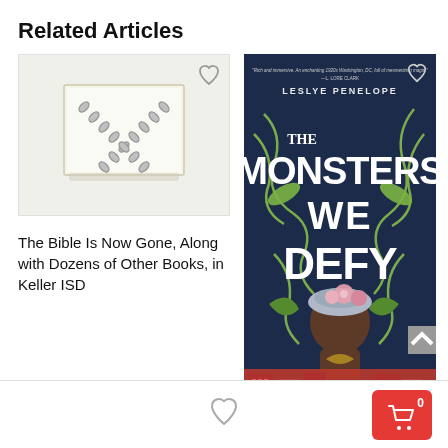Related Articles
[Figure (photo): A book wrapped with a chain/ribbon in an X pattern, on a white background]
The Bible Is Now Gone, Along with Dozens of Other Books, in Keller ISD
[Figure (photo): Book cover: The Monsters We Defy by Leslye Penelope. Dark blue cover with decorative green swirls, a Black woman's profile with floral hat, and pink row-house buildings at the bottom.]